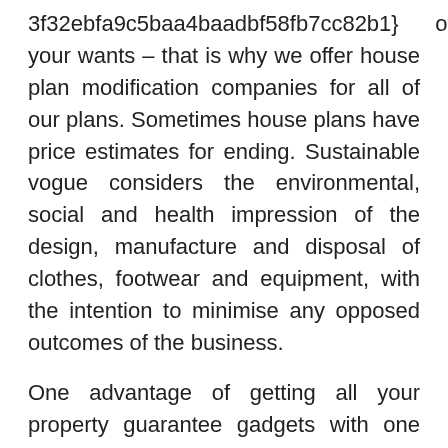3f32ebfa9c5baa4baadbf58fb7cc82b1}      of your wants – that is why we offer house plan modification companies for all of our plans. Sometimes house plans have price estimates for ending. Sustainable vogue considers the environmental, social and health impression of the design, manufacture and disposal of clothes, footwear and equipment, with the intention to minimise any opposed outcomes of the business.
One advantage of getting all your property guarantee gadgets with one firm is that there is just one plan and one company to name for service. Social media is a main digital promoting and advertising and marketing priority for small business homeowners, with fifty six